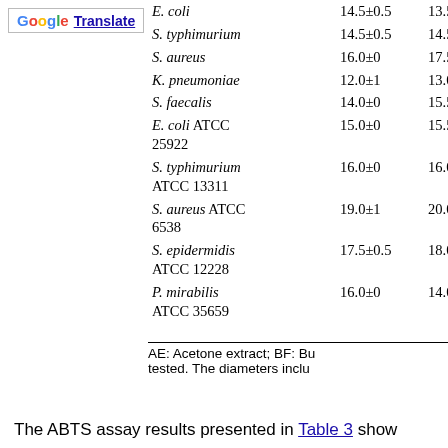[Figure (logo): Google Translate button with G logo and underlined Translate text]
| Organism | Val1 | Val2 |
| --- | --- | --- |
| E. coli | 14.5±0.5 | 13.5 |
| S. typhimurium | 14.5±0.5 | 14.5 |
| S. aureus | 16.0±0 | 17.5 |
| K. pneumoniae | 12.0±1 | 13.0 |
| S. faecalis | 14.0±0 | 15.5 |
| E. coli ATCC 25922 | 15.0±0 | 15.5 |
| S. typhimurium ATCC 13311 | 16.0±0 | 16.0 |
| S. aureus ATCC 6538 | 19.0±1 | 20.0 |
| S. epidermidis ATCC 12228 | 17.5±0.5 | 18.0 |
| P. mirabilis ATCC 35659 | 16.0±0 | 14.0 |
AE: Acetone extract; BF: Bu tested. The diameters inclu
The ABTS assay results presented in Table 3 show